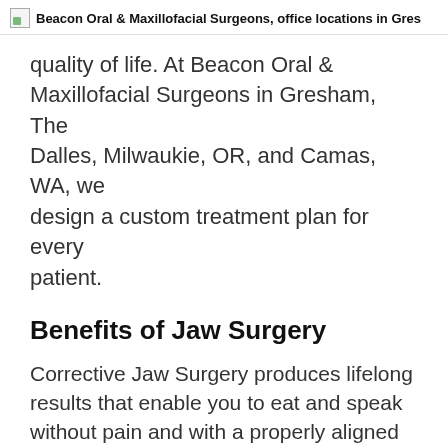Beacon Oral & Maxillofacial Surgeons, office locations in Gre…
quality of life. At Beacon Oral & Maxillofacial Surgeons in Gresham, The Dalles, Milwaukie, OR, and Camas, WA, we design a custom treatment plan for every patient.
Benefits of Jaw Surgery
Corrective Jaw Surgery produces lifelong results that enable you to eat and speak without pain and with a properly aligned bite. Additionally, jaw surgery offers these benefits:
Improved chewing, speech, and